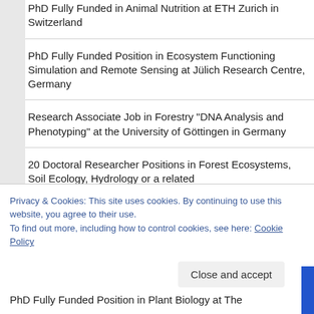PhD Fully Funded in Animal Nutrition at ETH Zurich in Switzerland
PhD Fully Funded Position in Ecosystem Functioning Simulation and Remote Sensing at Jülich Research Centre, Germany
Research Associate Job in Forestry "DNA Analysis and Phenotyping" at the University of Göttingen in Germany
20 Doctoral Researcher Positions in Forest Ecosystems, Soil Ecology, Hydrology or a related
Privacy & Cookies: This site uses cookies. By continuing to use this website, you agree to their use.
To find out more, including how to control cookies, see here: Cookie Policy
PhD Fully Funded Position in Plant Biology at The